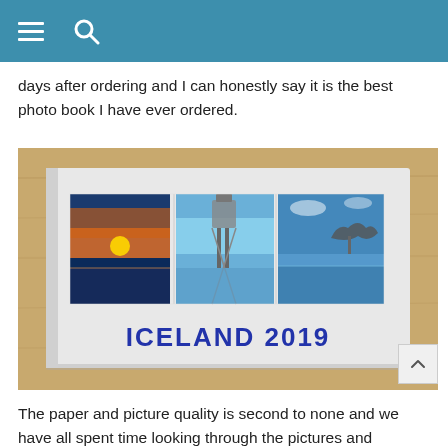days after ordering and I can honestly say it is the best photo book I have ever ordered.
[Figure (photo): A photo book titled 'ICELAND 2019' on a wooden surface, showing three travel photos on its cover: a sunset over water, a water tower structure, and a bird sculpture by a lake.]
The paper and picture quality is second to none and we have all spent time looking through the pictures and